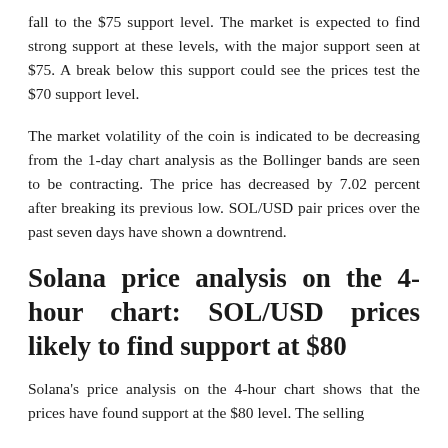fall to the $75 support level. The market is expected to find strong support at these levels, with the major support seen at $75. A break below this support could see the prices test the $70 support level.
The market volatility of the coin is indicated to be decreasing from the 1-day chart analysis as the Bollinger bands are seen to be contracting. The price has decreased by 7.02 percent after breaking its previous low. SOL/USD pair prices over the past seven days have shown a downtrend.
Solana price analysis on the 4-hour chart: SOL/USD prices likely to find support at $80
Solana's price analysis on the 4-hour chart shows that the prices have found support at the $80 level. The selling